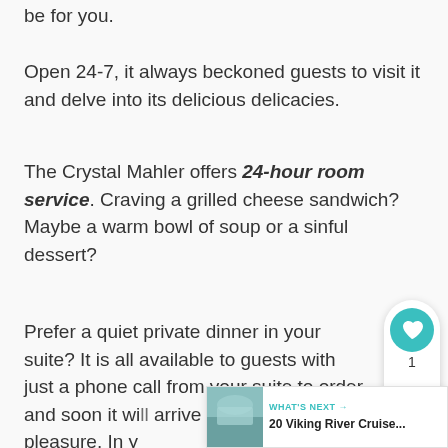be for you.
Open 24-7, it always beckoned guests to visit it and delve into its delicious delicacies.
The Crystal Mahler offers 24-hour room service. Craving a grilled cheese sandwich? Maybe a warm bowl of soup or a sinful dessert?
Prefer a quiet private dinner in your suite? It is all available to guests with just a phone call from your suite to order and soon it will arrive for your dining pleasure. In y